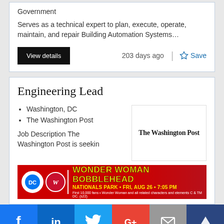Government
Serves as a technical expert to plan, execute, operate, maintain, and repair Building Automation Systems…
View details
203 days ago
Save
Engineering Lead
Washington, DC
The Washington Post
[Figure (logo): The Washington Post logo in blackletter/Old English font style]
Job Description The Washington Post is seekin
[Figure (infographic): Wonder Woman Bobblehead ad banner: Nationals Park, Fri, Aug 26, 7:05 PM. First 10,000 fans. Wonder Woman and all related characters and elements C & TM DC. (s22)]
[Figure (infographic): Social media sharing bar with Facebook, LinkedIn, Twitter, Google+, Email, and crown/Mightybell icons]